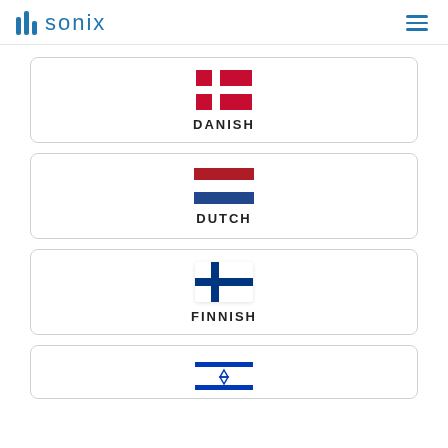sonix
[Figure (illustration): Language card with Danish flag (red background with white cross) and label DANISH]
DANISH
[Figure (illustration): Language card with Dutch flag (red, white, blue horizontal stripes) and label DUTCH]
DUTCH
[Figure (illustration): Language card with Finnish flag (white background with blue cross) and label FINNISH]
FINNISH
[Figure (illustration): Language card with Israeli flag (partially visible) at the bottom of the page]